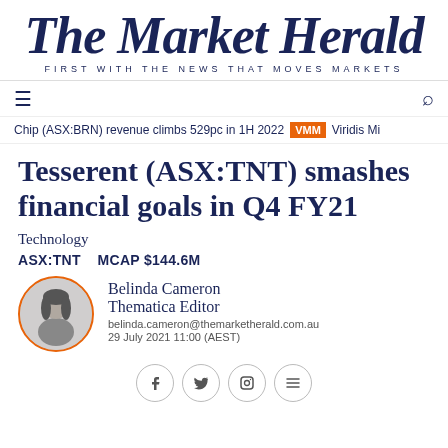The Market Herald — FIRST WITH THE NEWS THAT MOVES MARKETS
Chip (ASX:BRN) revenue climbs 529pc in 1H 2022   VMM   Viridis Mi
Tesserent (ASX:TNT) smashes financial goals in Q4 FY21
Technology
ASX:TNT   MCAP $144.6M
Belinda Cameron
Thematica Editor
belinda.cameron@themarketherald.com.au
29 July 2021 11:00 (AEST)